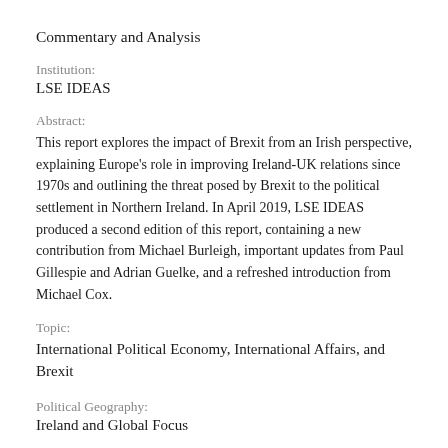Commentary and Analysis
Institution:
LSE IDEAS
Abstract:
This report explores the impact of Brexit from an Irish perspective, explaining Europe's role in improving Ireland-UK relations since 1970s and outlining the threat posed by Brexit to the political settlement in Northern Ireland. In April 2019, LSE IDEAS produced a second edition of this report, containing a new contribution from Michael Burleigh, important updates from Paul Gillespie and Adrian Guelke, and a refreshed introduction from Michael Cox.
Topic:
International Political Economy, International Affairs, and Brexit
Political Geography:
Ireland and Global Focus